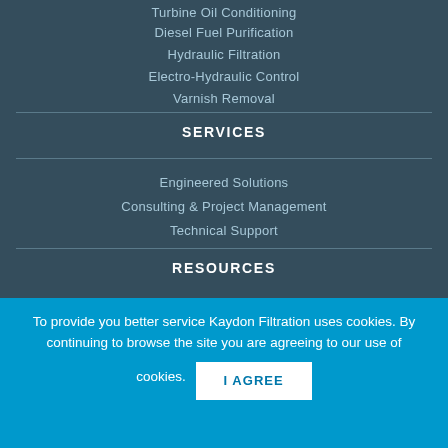Turbine Oil Conditioning
Diesel Fuel Purification
Hydraulic Filtration
Electro-Hydraulic Control
Varnish Removal
SERVICES
Engineered Solutions
Consulting & Project Management
Technical Support
RESOURCES
To provide you better service Kaydon Filtration uses cookies. By continuing to browse the site you are agreeing to our use of cookies.
I AGREE